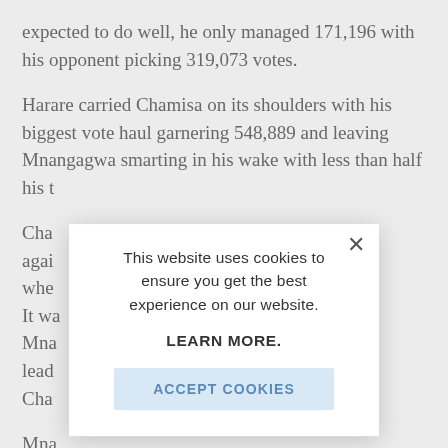expected to do well, he only managed 171,196 with his opponent picking 319,073 votes.
Harare carried Chamisa on its shoulders with his biggest vote haul garnering 548,889 and leaving Mnangagwa smarting in his wake with less than half his t[runcated by modal]
Cha[misa...] agai[n...] whe[n...] It wa[s...] Mna[ngagwa...] lead[...] Cha[misa...]
Mna[ngagwa...] 107,0[...] Fi[rst...]
[Figure (screenshot): Cookie consent modal dialog with close X button, text 'This website uses cookies to ensure you get the best experience on our website.', a LEARN MORE. link, and an ACCEPT COOKIES button on a light blue background.]